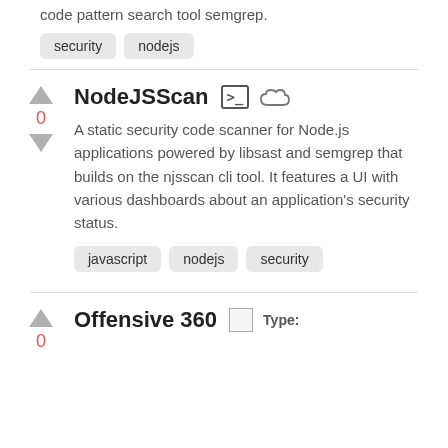code pattern search tool semgrep.
security
nodejs
NodeJSScan
A static security code scanner for Node.js applications powered by libsast and semgrep that builds on the njsscan cli tool. It features a UI with various dashboards about an application's security status.
javascript
nodejs
security
Offensive 360
Type: